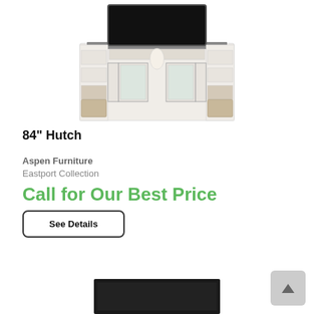[Figure (photo): White entertainment center hutch with built-in shelving, glass cabinet doors, and TV mounted on top showing dark screen. Product displayed on white background.]
84" Hutch
Aspen Furniture
Eastport Collection
Call for Our Best Price
See Details
[Figure (photo): Partial view of a dark black TV stand or console furniture piece at the bottom of the page.]